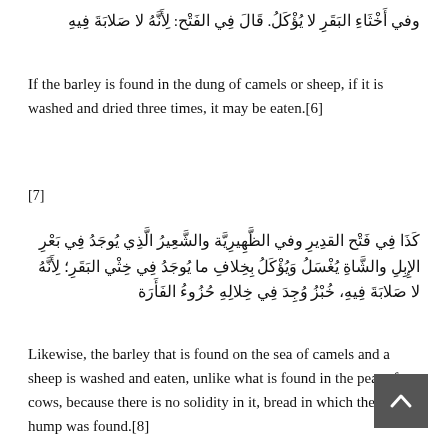وفي أَخْثَاءِ البَقَرِ لا يُؤْكَلُ. قَالَ فِي الفَتْح: لِأَنَّهُ لا صَلابَةَ فِيهِ
If the barley is found in the dung of camels or sheep, if it is washed and dried three times, it may be eaten.[6]
[7]
كَذَا فِي فَتْح القدِيرِ وفي الظَّهِيرِيَّة والشَّعِيرُ الَّذِي يُوجَدُ فِي بَعْرِ الإِبِلِ والشَّاةِ يُغْسَلُ وَيُؤْكَلُ بِخِلافِ ما يُوجَدُ فِي خِثْي البَقَرِ؛ لِأَنَّهُ لا صَلابَةَ فِيهِ، خُبْزُ وُجِدَ فِي خِلالِهِ حُزُوءُ الفَأَرَة
Likewise, the barley that is found on the sea of camels and a sheep is washed and eaten, unlike what is found in the peat of cows, because there is no solidity in it, bread in which the mouse hump was found.[8]